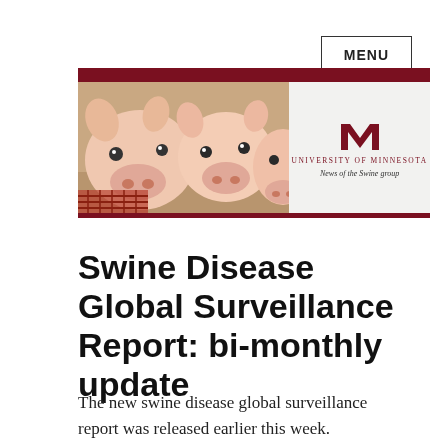MENU
[Figure (illustration): University of Minnesota Swine group banner with pig photo on the left and UMN logo/text on the right reading 'University of Minnesota — News of the Swine group']
Swine Disease Global Surveillance Report: bi-monthly update
The new swine disease global surveillance report was released earlier this week.